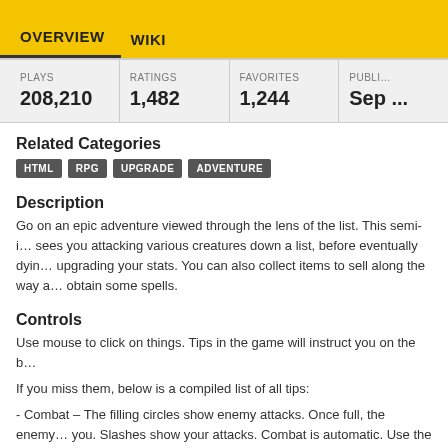OVERVIEW   WIKI
| PLAYS | RATINGS | FAVORITES | PUBLI... |
| --- | --- | --- | --- |
| 208,210 | 1,482 | 1,244 | Sep ... |
Related Categories
HTML   RPG   UPGRADE   ADVENTURE
Description
Go on an epic adventure viewed through the lens of the list. This semi-... sees you attacking various creatures down a list, before eventually dyin... upgrading your stats. You can also collect items to sell along the way a... obtain some spells.
Controls
Use mouse to click on things. Tips in the game will instruct you on the b...
If you miss them, below is a compiled list of all tips:
- Combat – The filling circles show enemy attacks. Once full, the enemy... you. Slashes show your attacks. Combat is automatic. Use the pause b... pause or resume.